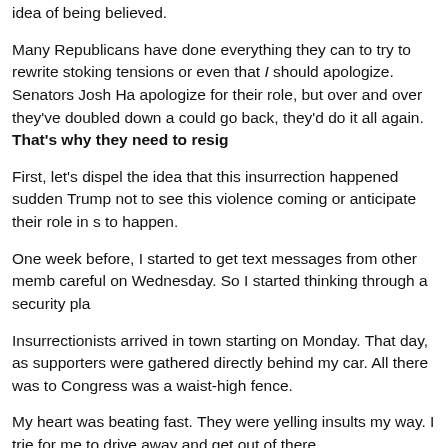idea of being believed.
Many Republicans have done everything they can to try to rewrite stoking tensions or even that I should apologize. Senators Josh Ha apologize for their role, but over and over they've doubled down a could go back, they'd do it all again. That's why they need to resig
First, let's dispel the idea that this insurrection happened sudden Trump not to see this violence coming or anticipate their role in s to happen.
One week before, I started to get text messages from other memb careful on Wednesday. So I started thinking through a security pla
Insurrectionists arrived in town starting on Monday. That day, as supporters were gathered directly behind my car. All there was to Congress was a waist-high fence.
My heart was beating fast. They were yelling insults my way. I trie for me to drive away and get out of there.
Later that day, I went to the grocery store and saw all these peopl like – whether you're from the Bronx, New York City, Queens, or wh know a general sense of when things aren't right. And things star grocery store that Monday night.